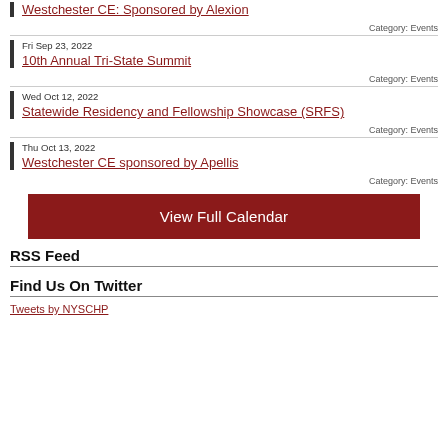Westchester CE: Sponsored by Alexion
Category: Events
Fri Sep 23, 2022
10th Annual Tri-State Summit
Category: Events
Wed Oct 12, 2022
Statewide Residency and Fellowship Showcase (SRFS)
Category: Events
Thu Oct 13, 2022
Westchester CE sponsored by Apellis
Category: Events
View Full Calendar
RSS Feed
Find Us On Twitter
Tweets by NYSCHP